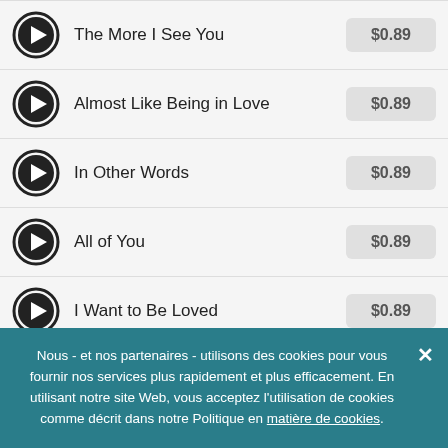The More I See You — $0.89
Almost Like Being in Love — $0.89
In Other Words — $0.89
All of You — $0.89
I Want to Be Loved — $0.89
You Leave Me Breathless — $0.89
Nous - et nos partenaires - utilisons des cookies pour vous fournir nos services plus rapidement et plus efficacement. En utilisant notre site Web, vous acceptez l'utilisation de cookies comme décrit dans notre Politique en matière de cookies.